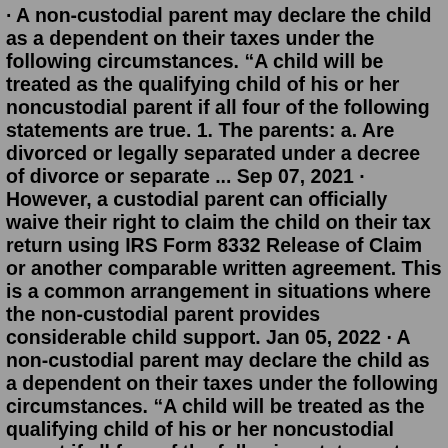· A non-custodial parent may declare the child as a dependent on their taxes under the following circumstances. “A child will be treated as the qualifying child of his or her noncustodial parent if all four of the following statements are true. 1. The parents: a. Are divorced or legally separated under a decree of divorce or separate ... Sep 07, 2021 · However, a custodial parent can officially waive their right to claim the child on their tax return using IRS Form 8332 Release of Claim or another comparable written agreement. This is a common arrangement in situations where the non-custodial parent provides considerable child support. Jan 05, 2022 · A non-custodial parent may declare the child as a dependent on their taxes under the following circumstances. “A child will be treated as the qualifying child of his or her noncustodial parent if all four of the following statements are true. 1. The parents: a. Are divorced or legally separated under a decree of divorce or separate ... Oct 07, 2020 · The non-custodial parent should only claim the child as their dependent if there